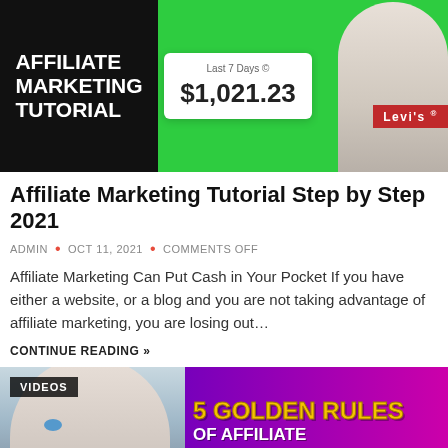[Figure (screenshot): Thumbnail image for affiliate marketing tutorial video showing black box with white text 'AFFILIATE MARKETING TUTORIAL', a white earnings card showing '$1,021.23' for 'Last 7 Days', a person in a white t-shirt, and a red Levi's badge on green background]
Affiliate Marketing Tutorial Step by Step 2021
ADMIN • OCT 11, 2021 • COMMENTS OFF
Affiliate Marketing Can Put Cash in Your Pocket If you have either a website, or a blog and you are not taking advantage of affiliate marketing, you are losing out…
CONTINUE READING »
[Figure (screenshot): Thumbnail for '5 Golden Rules of Affiliate' video showing a young man's face on left, 'VIDEOS' badge top-left, and bold gold/white text '5 GOLDEN RULES OF AFFILIATE' on a purple/pink gradient background]